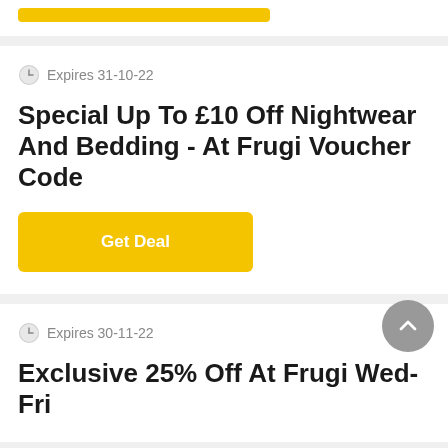[Figure (other): Yellow/gold horizontal button bar (truncated top of page)]
Expires 31-10-22
Special Up To £10 Off Nightwear And Bedding - At Frugi Voucher Code
Get Deal
Expires 30-11-22
Exclusive 25% Off At Frugi Wed-Fri